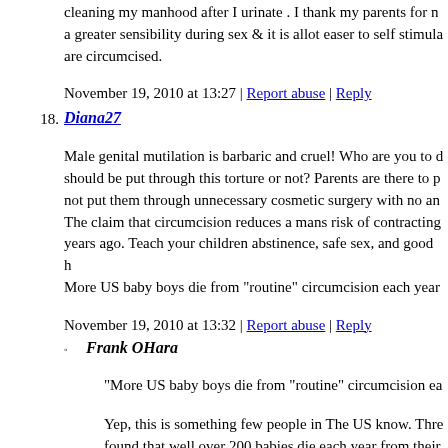cleaning my manhood after I urinate . I thank my parents for n a greater sensibility during sex & it is allot easer to self stimula are circumcised.
November 19, 2010 at 13:27 | Report abuse | Reply
18. Diana27
Male genital mutilation is barbaric and cruel! Who are you to d should be put through this torture or not? Parents are there to p not put them through unnecessary cosmetic surgery with no an The claim that circumcision reduces a mans risk of contracting years ago. Teach your children abstinence, safe sex, and good h More US baby boys die from "routine" circumcision each year
November 19, 2010 at 13:32 | Report abuse | Reply
Frank OHara
"More US baby boys die from "routine" circumcision ea
Yep, this is something few people in The US know. Thre found that well over 200 babies die each year from their malpractice lawsuits over those that survive amounting i alone in the last year, there were more than $13 million i judgments against doctors.
November 19, 2010 at 22:38 | Report abuse |